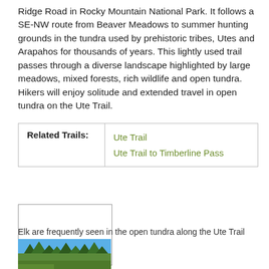Ridge Road in Rocky Mountain National Park. It follows a SE-NW route from Beaver Meadows to summer hunting grounds in the tundra used by prehistoric tribes, Utes and Arapahos for thousands of years. This lightly used trail passes through a diverse landscape highlighted by large meadows, mixed forests, rich wildlife and open tundra. Hikers will enjoy solitude and extended travel in open tundra on the Ute Trail.
| Related Trails: |  |
| --- | --- |
|  | Ute Trail
Ute Trail to Timberline Pass |
[Figure (photo): White/blank image placeholder box with border, representing a photo of elk in open tundra]
Elk are frequently seen in the open tundra along the Ute Trail
[Figure (photo): Photo of forested landscape with blue sky, showing pine trees and open area, along the Ute Trail]